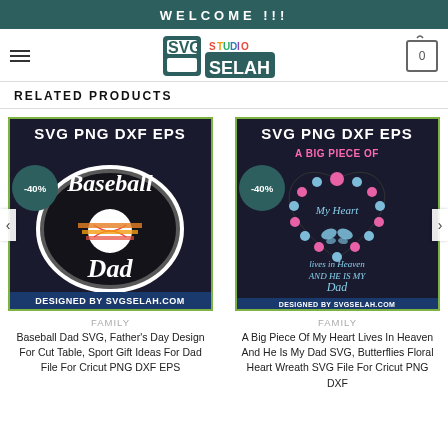WELCOME !!!
[Figure (logo): SVG Studio Selah logo with stylized S letters and colorful text]
RELATED PRODUCTS
[Figure (photo): Baseball Dad SVG product image with -40% badge, dark background, baseball and retro stripes design, text SVG PNG DXF EPS, DESIGNED BY SVGSELAH.COM]
[Figure (photo): A Big Piece Of My Heart Lives In Heaven And He Is My Dad SVG product image with -40% badge, floral heart wreath with butterfly design, text SVG PNG DXF EPS, DESIGNED BY SVGSELAH.COM]
FAMILY
Baseball Dad SVG, Father's Day Design For Cut Table, Sport Gift Ideas For Dad File For Cricut PNG DXF EPS
FAMILY
A Big Piece Of My Heart Lives In Heaven And He Is My Dad SVG, Butterflies Floral Heart Wreath SVG File For Cricut PNG DXF